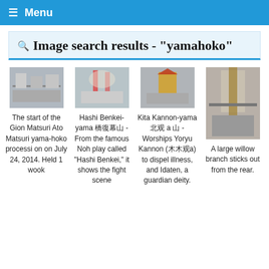☰ Menu
Image search results - "yamahoko"
[Figure (photo): Thumbnail of Gion Matsuri yamahoko procession on a city street]
The start of the Gion Matsuri Ato Matsuri yama-hoko procession on July 24, 2014. Held 1 week
[Figure (photo): Thumbnail of Hashi Benkei-yama float with performers]
Hashi Benkei-yama 橋弁慶山 - From the famous Noh play called "Hashi Benkei," it shows the fight scene
[Figure (photo): Thumbnail of Kita Kannon-yama float]
Kita Kannon-yama 北観音山 - Worships Yoryu Kannon (楊柳観音) to dispel illness, and Idaten, a guardian deity.
[Figure (photo): Thumbnail of a large willow branch float in city street]
A large willow branch sticks out from the rear.